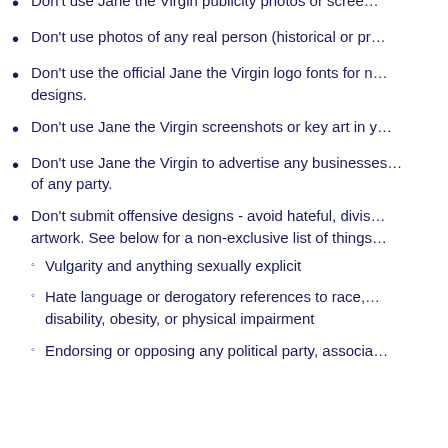Don't use Jane the Virgin publicity photos or scree…
Don't use photos of any real person (historical or pr…
Don't use the official Jane the Virgin logo fonts for n… designs.
Don't use Jane the Virgin screenshots or key art in y…
Don't use Jane the Virgin to advertise any businesses… of any party.
Don't submit offensive designs - avoid hateful, divis… artwork. See below for a non-exclusive list of things…
Vulgarity and anything sexually explicit
Hate language or derogatory references to race,… disability, obesity, or physical impairment
Endorsing or opposing any political party, associa…